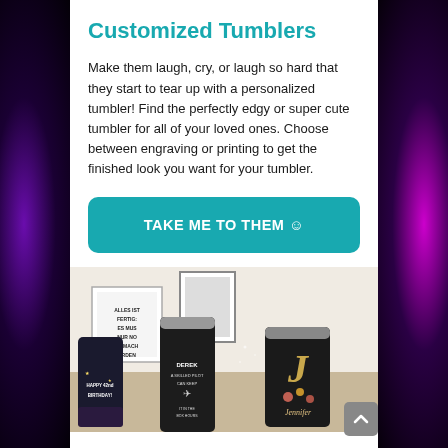Customized Tumblers
Make them laugh, cry, or laugh so hard that they start to tear up with a personalized tumbler! Find the perfectly edgy or super cute tumbler for all of your loved ones. Choose between engraving or printing to get the finished look you want for your tumbler.
TAKE ME TO THEM ☺
[Figure (photo): Photo of several customized black tumblers on a table, including ones that say 'Happy 42nd Birthday!', 'DEREK A Skilled Pilot CAN KEEP IT IN THE BOX HOURS', and one with a gold letter 'J' with floral decoration and the name 'Jennifer', with a framed poster in the background reading 'ALLES IST FERTIG ES MUS NUR NO GEMACH ERDEN']